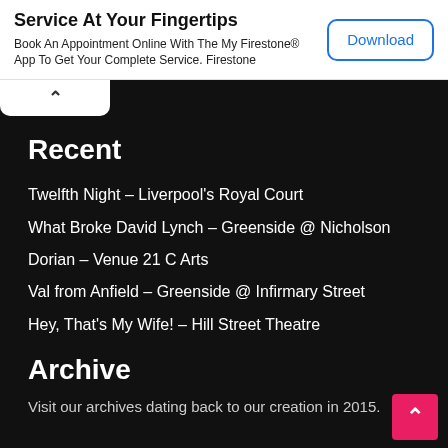Service At Your Fingertips
Book An Appointment Online With The My Firestone® App To Get Your Complete Service. Firestone
Download
Recent
Twelfth Night – Liverpool's Royal Court
What Broke David Lynch – Greenside @ Nicholson
Dorian – Venue 21 C Arts
Val from Anfield – Greenside @ Infirmary Street
Hey, That's My Wife! – Hill Street Theatre
Archive
Visit our archives dating back to our creation in 2015.